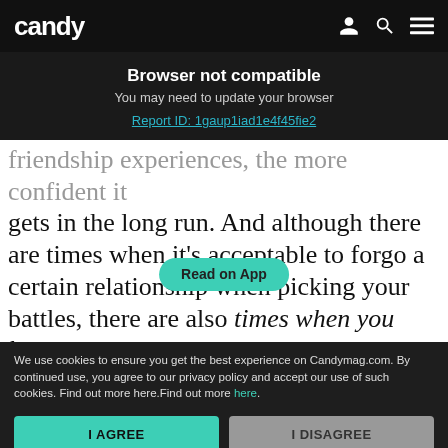candy
Browser not compatible
You may need to update your browser
Report ID: 1gaup1iad1e4f45fie2
friendship experiences, the more confident it gets in the long run. And although there are times when it’s acceptable to forgo a certain relationship when picking your battles, there are also times when you have to choose them over, no matter how messy the situation seems. Why? Because depending on the…
[Figure (screenshot): Read on App button overlay in teal/green color]
We use cookies to ensure you get the best experience on Candymag.com. By continued use, you agree to our privacy policy and accept our use of such cookies. Find out more here.Find out more here.
I AGREE
I DISAGREE